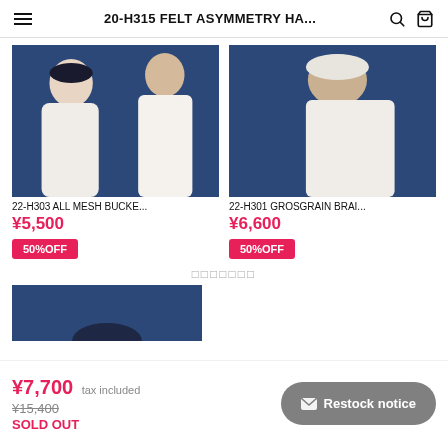20-H315 FELT ASYMMETRY HA...
[Figure (photo): Two models wearing hats against blue background — left product: 22-H303 ALL MESH BUCKE...]
22-H303 ALL MESH BUCKE...
¥5,500
50%OFF
[Figure (photo): Model wearing white hat against blue background — right product: 22-H301 GROSGRAIN BRAI...]
22-H301 GROSGRAIN BRAI...
¥6,600
50%OFF
□□□□□□□
[Figure (photo): Partial product image at bottom, dark blue hat against blue background]
¥7,700 tax included
¥15,400
SOLD OUT
✉ Restock notice